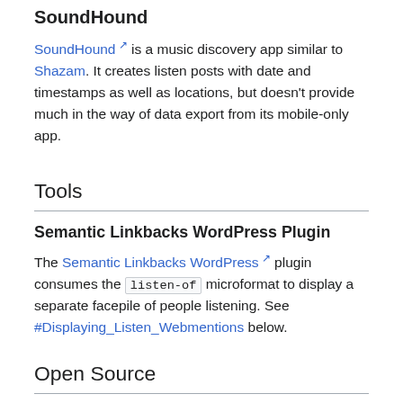SoundHound
SoundHound is a music discovery app similar to Shazam. It creates listen posts with date and timestamps as well as locations, but doesn't provide much in the way of data export from its mobile-only app.
Tools
Semantic Linkbacks WordPress Plugin
The Semantic Linkbacks WordPress plugin consumes the listen-of microformat to display a separate facepile of people listening. See #Displaying_Listen_Webmentions below.
Open Source
Libre.fm and GNU FM
There exists https://libre.fm which uses GNU FM. Once could conceivably run this on their own site.